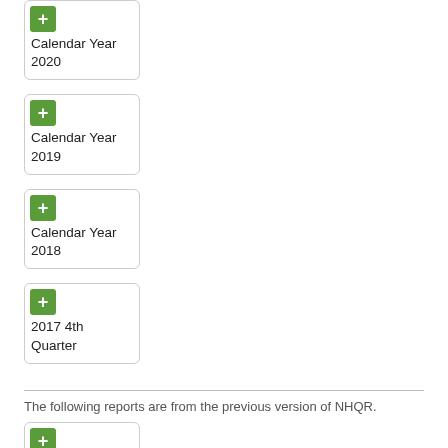Calendar Year 2020
Calendar Year 2019
Calendar Year 2018
2017 4th Quarter
The following reports are from the previous version of NHQR.
2017 1st-3rd Quarter